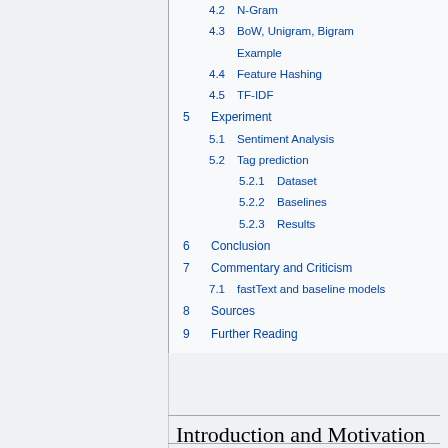4.2  N-Gram
4.3  BoW, Unigram, Bigram Example
4.4  Feature Hashing
4.5  TF-IDF
5  Experiment
5.1  Sentiment Analysis
5.2  Tag prediction
5.2.1  Dataset
5.2.2  Baselines
5.2.3  Results
6  Conclusion
7  Commentary and Criticism
7.1  fastText and baseline models
8  Sources
9  Further Reading
Introduction and Motivation